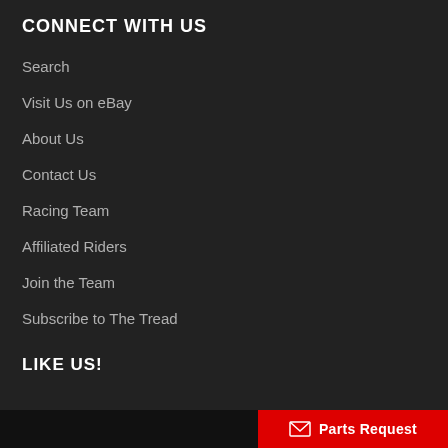CONNECT WITH US
Search
Visit Us on eBay
About Us
Contact Us
Racing Team
Affiliated Riders
Join the Team
Subscribe to The Tread
LIKE US!
Parts Request